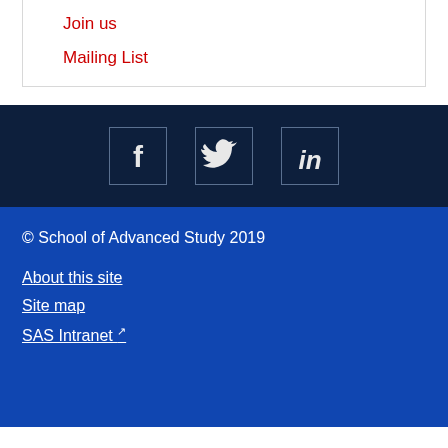Join us
Mailing List
[Figure (other): Social media icons: Facebook, Twitter, LinkedIn on dark navy background]
© School of Advanced Study 2019
About this site
Site map
SAS Intranet (external link)